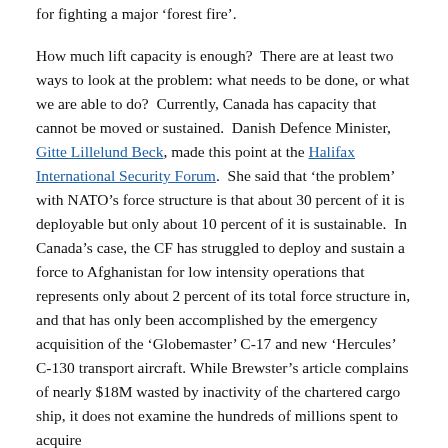for fighting a major 'forest fire'.
How much lift capacity is enough?  There are at least two ways to look at the problem: what needs to be done, or what we are able to do?  Currently, Canada has capacity that cannot be moved or sustained.  Danish Defence Minister, Gitte Lillelund Beck, made this point at the Halifax International Security Forum.  She said that ‘the problem’ with NATO’s force structure is that about 30 percent of it is deployable but only about 10 percent of it is sustainable.  In Canada’s case, the CF has struggled to deploy and sustain a force to Afghanistan for low intensity operations that represents only about 2 percent of its total force structure in, and that has only been accomplished by the emergency acquisition of the ‘Globemaster’ C-17 and new ‘Hercules’ C-130 transport aircraft. While Brewster’s article complains of nearly $18M wasted by inactivity of the chartered cargo ship, it does not examine the hundreds of millions spent to acquire